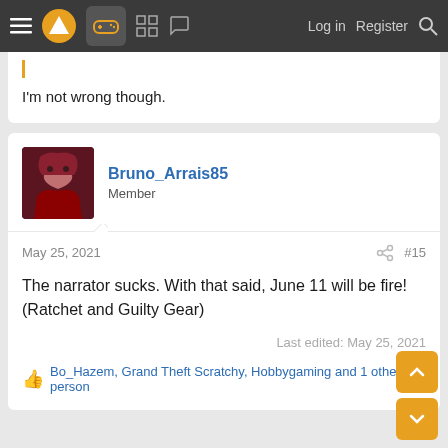Navigation bar: hamburger menu, logo, gamepad icon, grid icon, chat icon, Log in, Register, Search
I'm not wrong though.
Bruno_Arrais85
Member
May 25, 2021  #15
The narrator sucks. With that said, June 11 will be fire! (Ratchet and Guilty Gear)
Last edited: May 25, 2021
Bo_Hazem, Grand Theft Scratchy, Hobbygaming and 1 other person